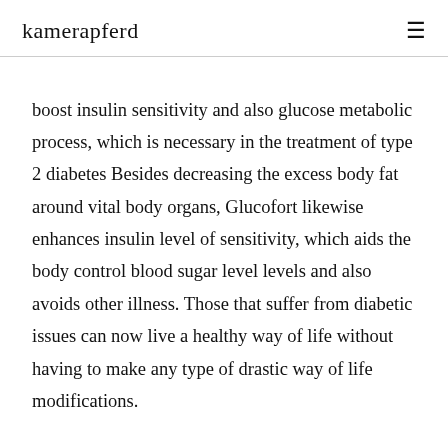kamerapferd
boost insulin sensitivity and also glucose metabolic process, which is necessary in the treatment of type 2 diabetes Besides decreasing the excess body fat around vital body organs, Glucofort likewise enhances insulin level of sensitivity, which aids the body control blood sugar level levels and also avoids other illness. Those that suffer from diabetic issues can now live a healthy way of life without having to make any type of drastic way of life modifications.